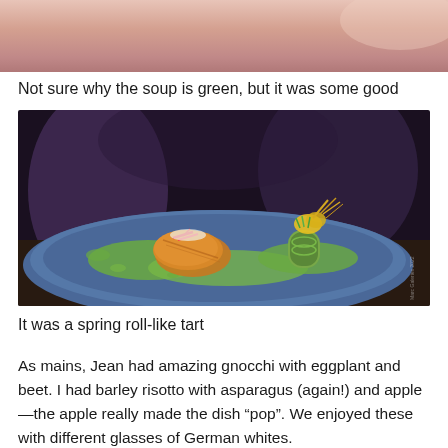[Figure (photo): Top portion of a food photo, partially cropped, showing a pinkish-beige background suggesting a soup or dish]
Not sure why the soup is green, but it was some good
[Figure (photo): A beautifully plated dish on a blue ceramic plate: a golden spring roll-like tart garnished with red radish strips and green sauce, alongside a cucumber roll with yellow squash blossom and microgreens, all drizzled with vibrant green herb oil. Dark moody restaurant background.]
It was a spring roll-like tart
As mains, Jean had amazing gnocchi with eggplant and beet. I had barley risotto with asparagus (again!) and apple—the apple really made the dish “pop”. We enjoyed these with different glasses of German whites.